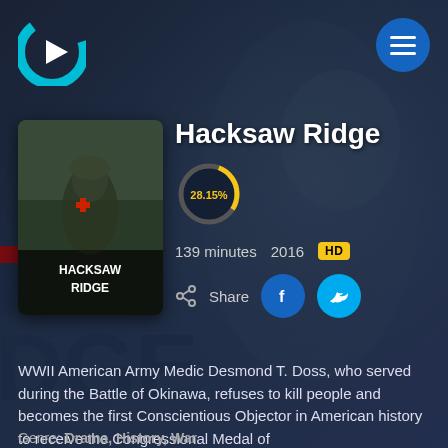[Figure (logo): Crackle streaming service logo - white C shape with play button triangle]
[Figure (photo): Movie poster for Hacksaw Ridge showing soldier carrying wounded comrade]
Hacksaw Ridge
[Figure (other): Circular progress/rating indicator showing 28.15%]
28.15%
139 minutes   2016   HD
[Figure (infographic): Share button with Facebook and Twitter social buttons]
WWII American Army Medic Desmond T. Doss, who served during the Battle of Okinawa, refuses to kill people and becomes the first Conscientious Objector in American history to receive the Congressional Medal of
Genre: Drama, History, War